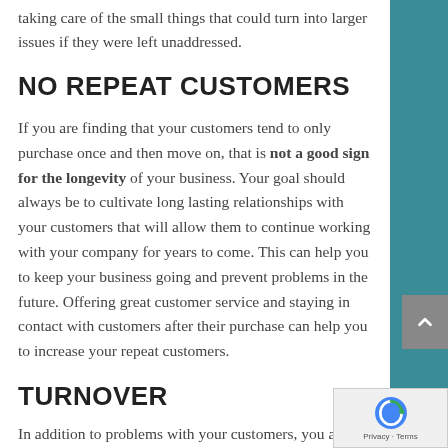taking care of the small things that could turn into larger issues if they were left unaddressed.
NO REPEAT CUSTOMERS
If you are finding that your customers tend to only purchase once and then move on, that is not a good sign for the longevity of your business. Your goal should always be to cultivate long lasting relationships with your customers that will allow them to continue working with your company for years to come. This can help you to keep your business going and prevent problems in the future. Offering great customer service and staying in contact with customers after their purchase can help you to increase your repeat customers.
TURNOVER
In addition to problems with your customers, you also